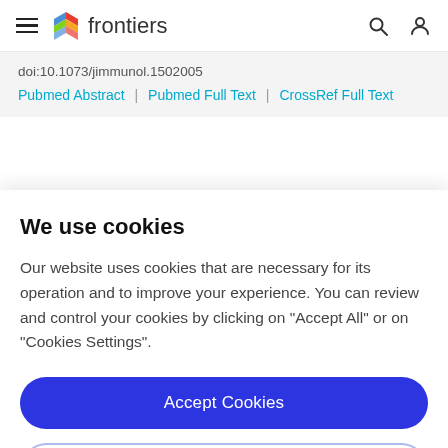frontiers
doi:10.1073/jimmunol.1502005
Pubmed Abstract | Pubmed Full Text | CrossRef Full Text
143. Male V, Nisoli I, Kostrzewski T, Allan DS, Carlyle JR, Lord GM, et al. The transcription factor E4bp4/Nfil3 controls
We use cookies
Our website uses cookies that are necessary for its operation and to improve your experience. You can review and control your cookies by clicking on "Accept All" or on "Cookies Settings".
Accept Cookies
Cookies Settings